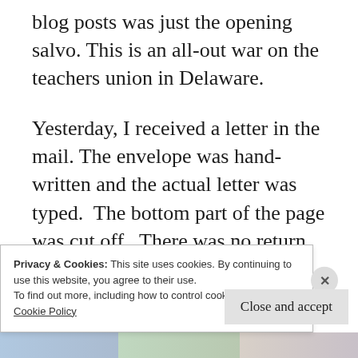blog posts was just the opening salvo. This is an all-out war on the teachers union in Delaware.
Yesterday, I received a letter in the mail. The envelope was hand-written and the actual letter was typed.  The bottom part of the page was cut off.  There was no return address, just a Wilmington
postmark. I do not know who sent it but
Privacy & Cookies: This site uses cookies. By continuing to use this website, you agree to their use.
To find out more, including how to control cookies, see here: Cookie Policy
Close and accept